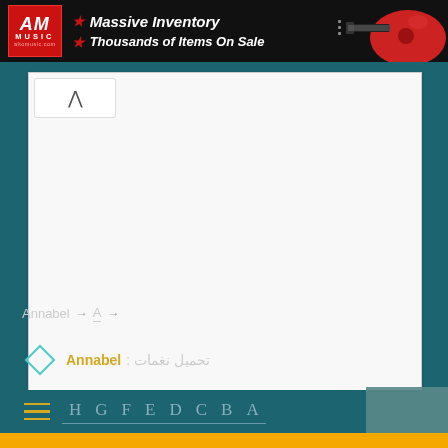[Figure (screenshot): Alto Music banner advertisement showing logo, 'Massive Inventory' and 'Thousands of Items On Sale' text with a red electric guitar]
[Figure (screenshot): White content area with a collapse/accordion arrow button at top left on a teal background]
Annabel → A →
تحميل نغمات : Annabel
[Figure (infographic): Navigation bar with hamburger menu icon and letters H G F E D C B A on teal background]
[Figure (photo): Small image at bottom right corner]